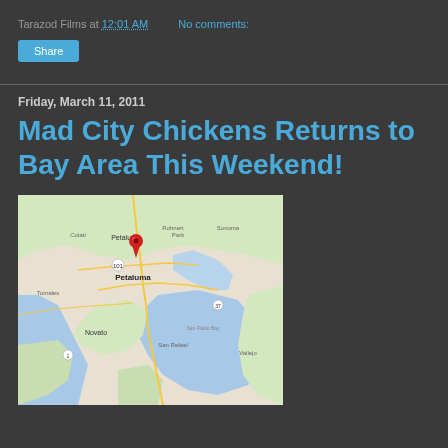Tarazod Films at 12:01 AM   No comments:
Share
Friday, March 11, 2011
Mad City Chickens Returns to Bay Area This Weekend!
[Figure (map): Google Maps view of the Bay Area near Petaluma, California, with a red location marker pin dropped on Petaluma.]